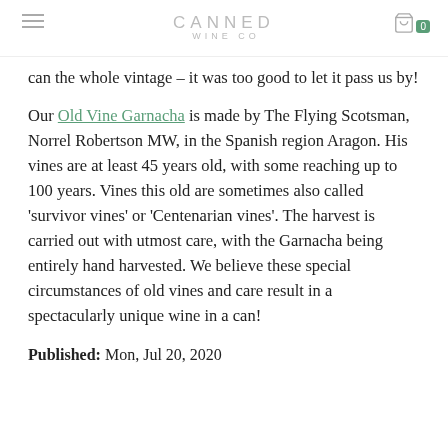CANNED WINE CO
can the whole vintage – it was too good to let it pass us by!
Our Old Vine Garnacha is made by The Flying Scotsman, Norrel Robertson MW, in the Spanish region Aragon. His vines are at least 45 years old, with some reaching up to 100 years. Vines this old are sometimes also called 'survivor vines' or 'Centenarian vines'. The harvest is carried out with utmost care, with the Garnacha being entirely hand harvested. We believe these special circumstances of old vines and care result in a spectacularly unique wine in a can!
Published: Mon, Jul 20, 2020